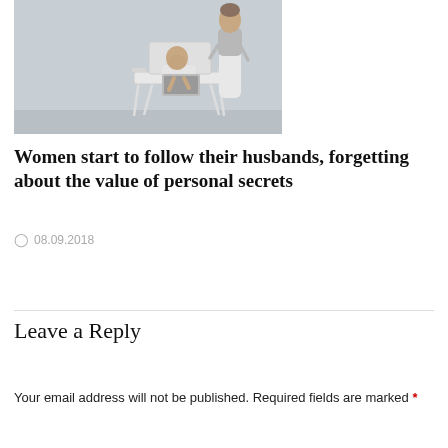[Figure (photo): A man sitting in a white outdoor chair using a laptop, with a woman standing behind him. Both are dressed in light/white clothing against a grey overcast background.]
Women start to follow their husbands, forgetting about the value of personal secrets
⊙ 08.09.2018
Leave a Reply
Your email address will not be published. Required fields are marked *